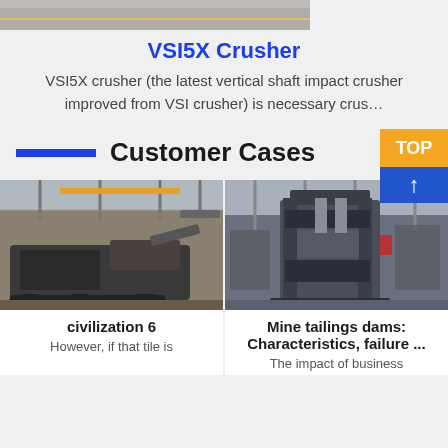[Figure (photo): Top portion of a machine/crusher photo, partially visible]
VSI5X Crusher
VSI5X crusher (the latest vertical shaft impact crusher improved from VSI crusher) is necessary crus…
Customer Cases
[Figure (photo): Industrial crawler-mounted crusher machine in a warehouse/factory]
civilization 6
However, if that tile is
[Figure (photo): Large industrial press machine in a factory/warehouse setting]
Mine tailings dams: Characteristics, failure ...
The impact of business